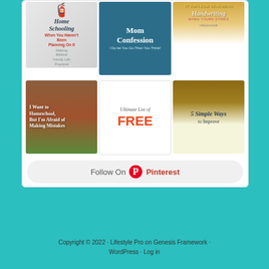[Figure (screenshot): Pinterest widget showing 6 homeschooling-related pins in a 3x2 grid, with a 'Follow On Pinterest' button below. Pins include: 'Home Schooling When You Haven't Been Planning On It', 'Mom Confession I Do Let You Go Than You Think!', '17 Tips for Teaching Handwriting When Yours Stinks', 'I Want to Homeschool, But I'm Afraid of Making Mistakes', 'Ultimate List of FREE', and '5 Simple Ways to Improve'.]
Copyright © 2022 · Lifestyle Pro on Genesis Framework · WordPress · Log in